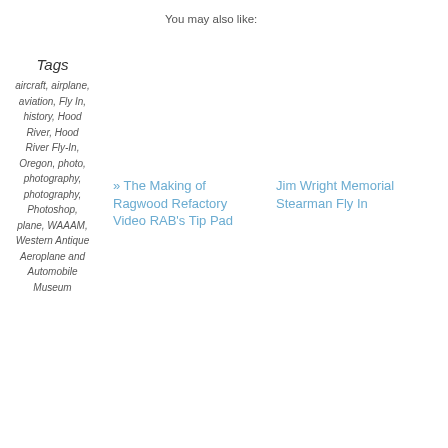You may also like:
Tags
aircraft, airplane, aviation, Fly In, history, Hood River, Hood River Fly-In, Oregon, photo, photography, photography, Photoshop, plane, WAAAM, Western Antique Aeroplane and Automobile Museum
» The Making of Ragwood Refactory Video RAB's Tip Pad
Jim Wright Memorial Stearman Fly In
Snowy Owls at Boundary Bay
Snowy HDR